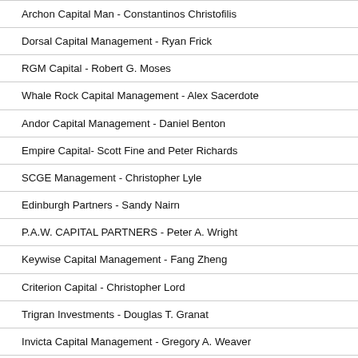Archon Capital Man - Constantinos Christofilis
Dorsal Capital Management - Ryan Frick
RGM Capital - Robert G. Moses
Whale Rock Capital Management - Alex Sacerdote
Andor Capital Management - Daniel Benton
Empire Capital- Scott Fine and Peter Richards
SCGE Management - Christopher Lyle
Edinburgh Partners - Sandy Nairn
P.A.W. CAPITAL PARTNERS - Peter A. Wright
Keywise Capital Management - Fang Zheng
Criterion Capital - Christopher Lord
Trigran Investments - Douglas T. Granat
Invicta Capital Management - Gregory A. Weaver